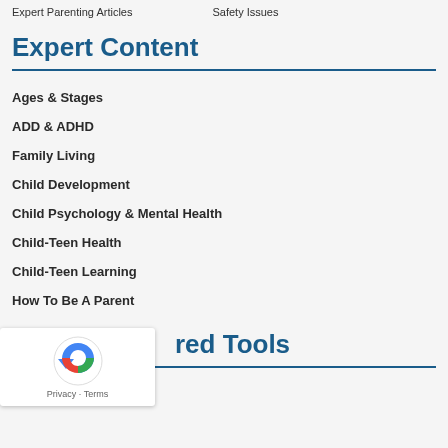Expert Parenting Articles    Safety Issues
Expert Content
Ages & Stages
ADD & ADHD
Family Living
Child Development
Child Psychology & Mental Health
Child-Teen Health
Child-Teen Learning
How To Be A Parent
red Tools